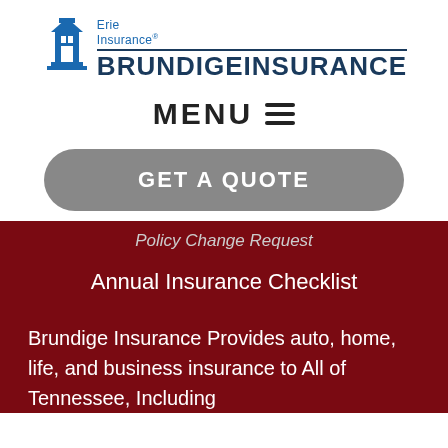[Figure (logo): Erie Insurance Brundige Insurance logo with tower icon and blue text]
MENU ☰
GET A QUOTE
Policy Change Request
Annual Insurance Checklist
Brundige Insurance Provides auto, home, life, and business insurance to All of Tennessee, Including